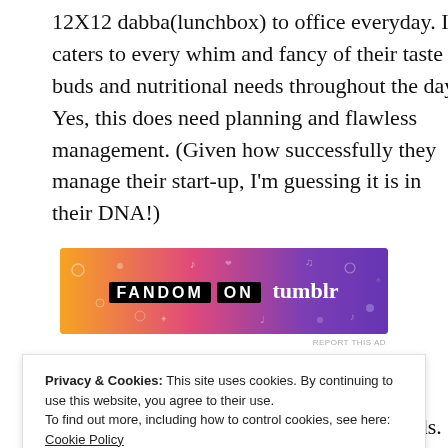12X12 dabba(lunchbox) to office everyday. It caters to every whim and fancy of their taste buds and nutritional needs throughout the day. Yes, this does need planning and flawless management. (Given how successfully they manage their start-up, I'm guessing it is in their DNA!)
[Figure (illustration): Fandom on Tumblr advertisement banner with orange to purple gradient background and decorative doodles. Text reads 'FANDOM ON tumblr']
REPORT THIS AD
But what about the rest of us, the not-so-meticulous
proteins, carbs and fats, suited for his needs. So even if
Privacy & Cookies: This site uses cookies. By continuing to use this website, you agree to their use.
To find out more, including how to control cookies, see here: Cookie Policy